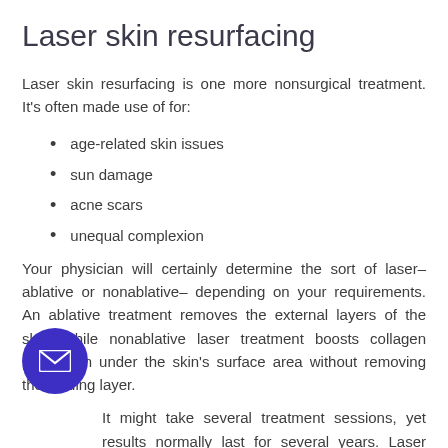Laser skin resurfacing
Laser skin resurfacing is one more nonsurgical treatment. It’s often made use of for:
age-related skin issues
sun damage
acne scars
unequal complexion
Your physician will certainly determine the sort of laser– ablative or nonablative– depending on your requirements. An ablative treatment removes the external layers of the skin, while nonablative laser treatment boosts collagen production under the skin’s surface area without removing the leading layer.
It might take several treatment sessions, yet results normally last for several years. Laser skin